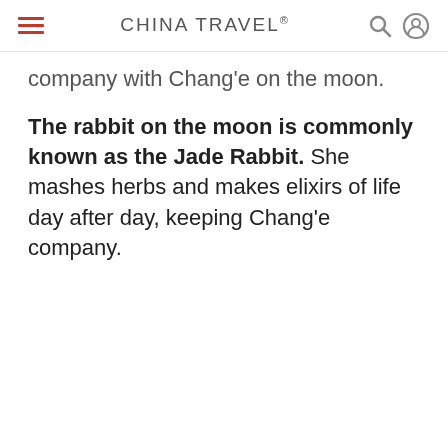CHINA TRAVEL®
company with Chang'e on the moon.
The rabbit on the moon is commonly known as the Jade Rabbit. She mashes herbs and makes elixirs of life day after day, keeping Chang'e company.